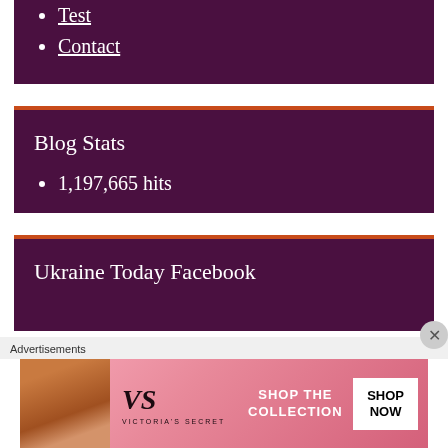Test
Contact
Blog Stats
1,197,665 hits
Ukraine Today Facebook
Advertisements
[Figure (illustration): Victoria's Secret advertisement banner with model photo, VS logo, 'SHOP THE COLLECTION' text, and 'SHOP NOW' button]